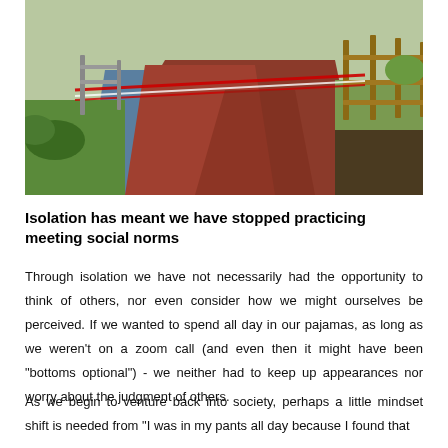[Figure (photo): An outdoor path or track with red and white barrier tape stretched across it, with a wooden fence on the right side and greenery on both sides. The path appears to be closed off.]
Isolation has meant we have stopped practicing meeting social norms
Through isolation we have not necessarily had the opportunity to think of others, nor even consider how we might ourselves be perceived. If we wanted to spend all day in our pajamas, as long as we weren't on a zoom call (and even then it might have been "bottoms optional") - we neither had to keep up appearances nor worry about the judgment of others.
As we begin to venture back into society, perhaps a little mindset shift is needed from "I was in my pants all day because I found that